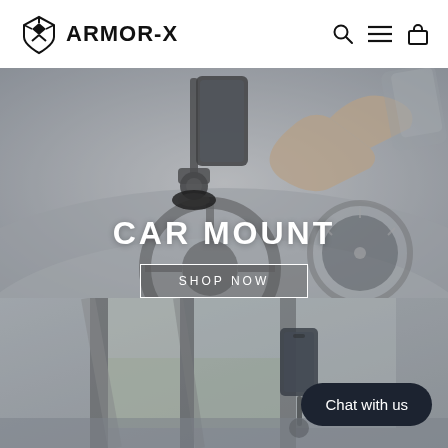ARMOR-X
[Figure (photo): Hero image showing a car phone mount attached to a car dashboard with a hand pointing at a phone on the mount, steering wheel and speedometer visible in the background. Semi-transparent overlay. Text overlay: CAR MOUNT and SHOP NOW button.]
CAR MOUNT
SHOP NOW
[Figure (photo): Lower section showing a car interior with a phone mounted on the windshield/dashboard area, exterior view visible through windows.]
Chat with us